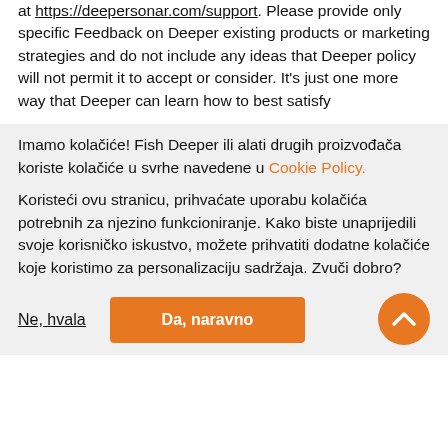at https://deepersonar.com/support. Please provide only specific Feedback on Deeper existing products or marketing strategies and do not include any ideas that Deeper policy will not permit it to accept or consider. It's just one more way that Deeper can learn how to best satisfy
Imamo kolačiće! Fish Deeper ili alati drugih proizvođača koriste kolačiće u svrhe navedene u Cookie Policy.
Koristeći ovu stranicu, prihvaćate uporabu kolačića potrebnih za njezino funkcioniranje. Kako biste unaprijedili svoje korisničko iskustvo, možete prihvatiti dodatne kolačiće koje koristimo za personalizaciju sadržaja. Zvuči dobro?
Ne, hvala
Da, naravno